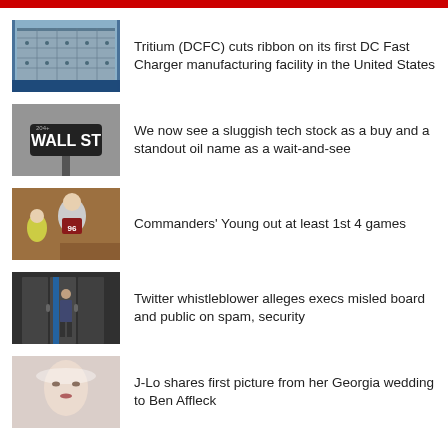Tritium (DCFC) cuts ribbon on its first DC Fast Charger manufacturing facility in the United States
We now see a sluggish tech stock as a buy and a standout oil name as a wait-and-see
Commanders' Young out at least 1st 4 games
Twitter whistleblower alleges execs misled board and public on spam, security
J-Lo shares first picture from her Georgia wedding to Ben Affleck